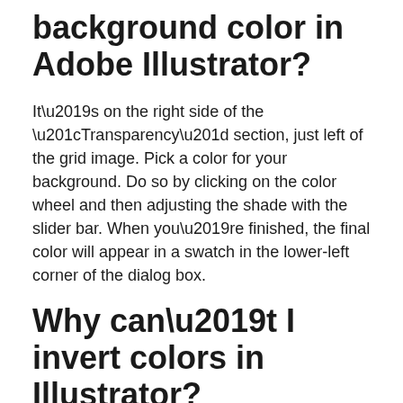background color in Adobe Illustrator?
It’s on the right side of the “Transparency” section, just left of the grid image. Pick a color for your background. Do so by clicking on the color wheel and then adjusting the shade with the slider bar. When you’re finished, the final color will appear in a swatch in the lower-left corner of the dialog box.
Why can’t I invert colors in Illustrator?
You may have noticed that when you highlight text in Illustrator, the program will